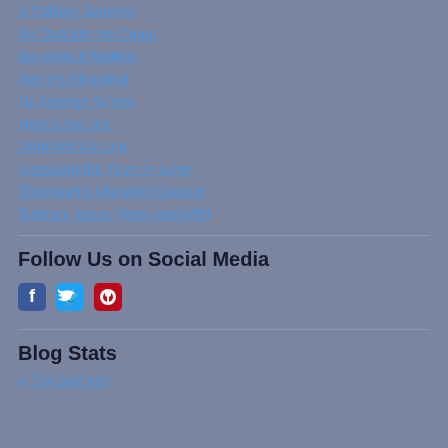A Solitary Journey
Be Outside the Camp
Because It Matters
David's Slingshot
Dr. George Simon
Here's the Joy
JimmyHinton.org
Speaking the Truth in Love
Thoroughly Christian Divorce
Tolerant Jesus Meek and Mild
Follow Us on Social Media
[Figure (illustration): Social media icons: Facebook, Twitter, Pinterest]
Blog Stats
4,704,642 hits